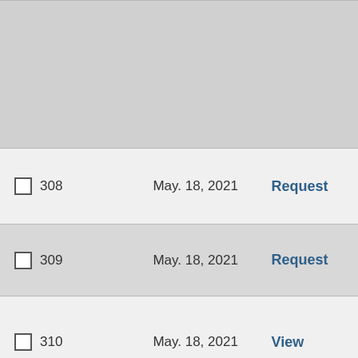| ID | Date | Action |
| --- | --- | --- |
|  |  |  |
| 308 | May. 18, 2021 | Request |
| 309 | May. 18, 2021 | Request |
| 310 | May. 18, 2021 | View |